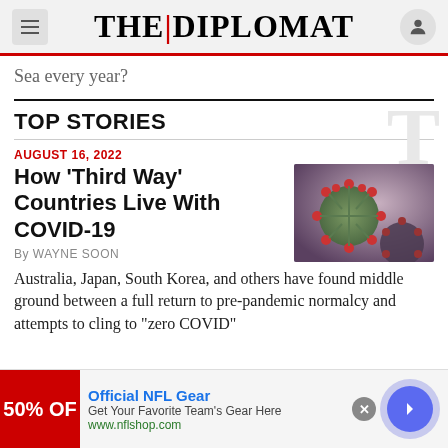THE|DIPLOMAT
Sea every year?
TOP STORIES
AUGUST 16, 2022
How ‘Third Way’ Countries Live With COVID-19
By WAYNE SOON
[Figure (photo): Close-up illustration of COVID-19 coronavirus particles with red spike proteins on dark background]
Australia, Japan, South Korea, and others have found middle ground between a full return to pre-pandemic normalcy and attempts to cling to “zero COVID”
[Figure (other): Advertisement for Official NFL Gear — 50% OFF banner with blue arrow navigation button]